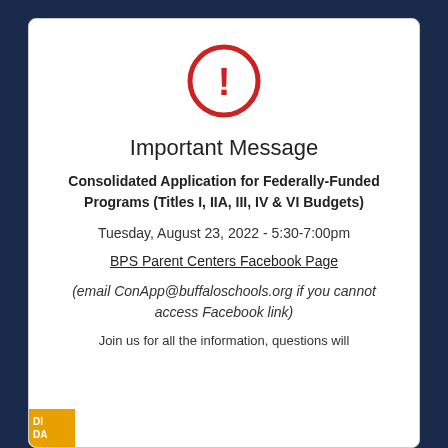[Figure (illustration): Red circle with exclamation mark warning/alert icon]
Important Message
Consolidated Application for Federally-Funded Programs (Titles I, IIA, III, IV & VI Budgets)
Tuesday, August 23, 2022 - 5:30-7:00pm
BPS Parent Centers Facebook Page
(email ConApp@buffaloschools.org if you cannot access Facebook link)
Join us for all the information, questions will